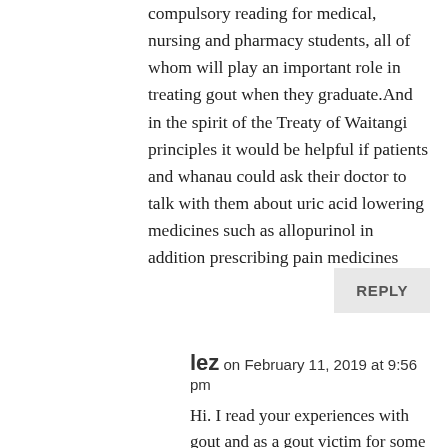compulsory reading for medical, nursing and pharmacy students, all of whom will play an important role in treating gout when they graduate.And in the spirit of the Treaty of Waitangi principles it would be helpful if patients and whanau could ask their doctor to talk with them about uric acid lowering medicines such as allopurinol in addition prescribing pain medicines
REPLY
lez on February 11, 2019 at 9:56 pm
Hi. I read your experiences with gout and as a gout victim for some 40 years, I am now in